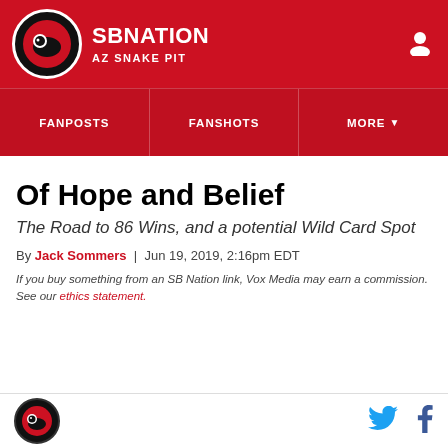SB NATION | AZ SNAKE PIT
FANPOSTS | FANSHOTS | MORE
Of Hope and Belief
The Road to 86 Wins, and a potential Wild Card Spot
By Jack Sommers | Jun 19, 2019, 2:16pm EDT
If you buy something from an SB Nation link, Vox Media may earn a commission. See our ethics statement.